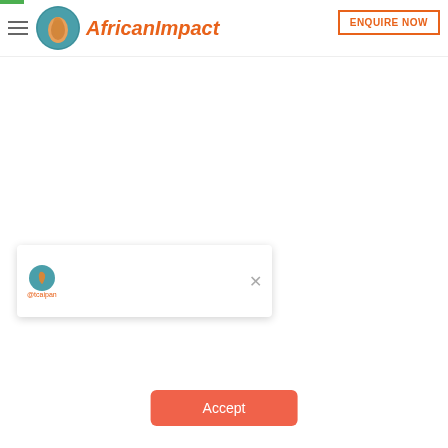African Impact — ENQUIRE NOW
CATEGORY: PROJECT BLOGS
[Figure (photo): Sunset landscape with orange and purple sky, trees and vegetation in foreground, group of people partially visible at right edge]
We use cookies to ensure the best experience on our website. If you continue to use this site we will assume that you are happy with it.
Accept